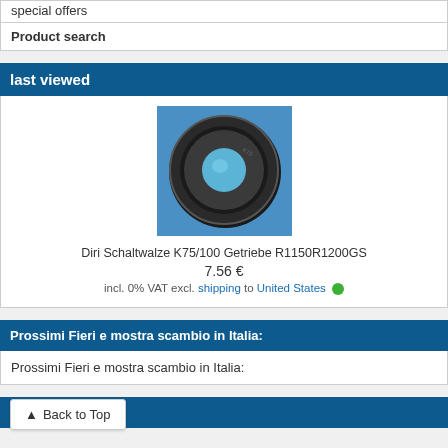special offers
Product search
last viewed
[Figure (photo): A black rubber oil seal / O-ring part (Diri Schaltwalze K75/100 Getriebe R1150R1200GS) on a blue background]
Diri Schaltwalze K75/100 Getriebe R1150R1200GS
7.56 €
incl. 0% VAT excl. shipping to United States
Prossimi Fieri e mostra scambio in Italia:
Prossimi Fieri e mostra scambio in Italia:
Statistics
Back to Top